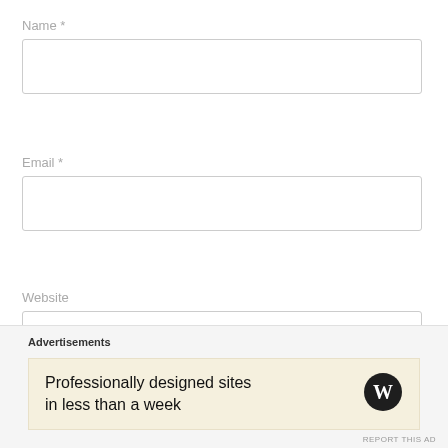Name *
Email *
Website
POST COMMENT
Notify me of new comments via email
Advertisements
Professionally designed sites in less than a week